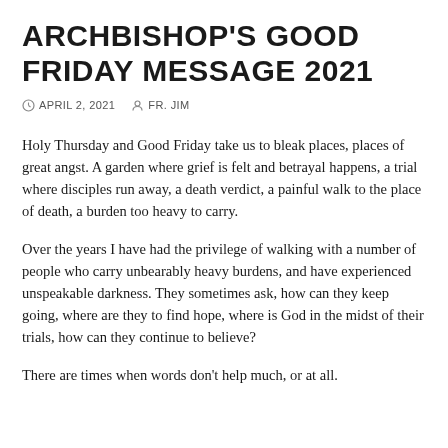ARCHBISHOP'S GOOD FRIDAY MESSAGE 2021
APRIL 2, 2021   FR. JIM
Holy Thursday and Good Friday take us to bleak places, places of great angst. A garden where grief is felt and betrayal happens, a trial where disciples run away, a death verdict, a painful walk to the place of death, a burden too heavy to carry.
Over the years I have had the privilege of walking with a number of people who carry unbearably heavy burdens, and have experienced unspeakable darkness. They sometimes ask, how can they keep going, where are they to find hope, where is God in the midst of their trials, how can they continue to believe?
There are times when words don't help much, or at all.